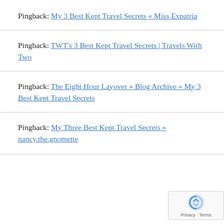Pingback: My 3 Best Kept Travel Secrets « Miss Expatria
Pingback: TWT's 3 Best Kept Travel Secrets | Travels With Two
Pingback: The Eight Hour Layover » Blog Archive » My 3 Best Kept Travel Secrets
Pingback: My Three Best Kept Travel Secrets » nancy.the.gnomette